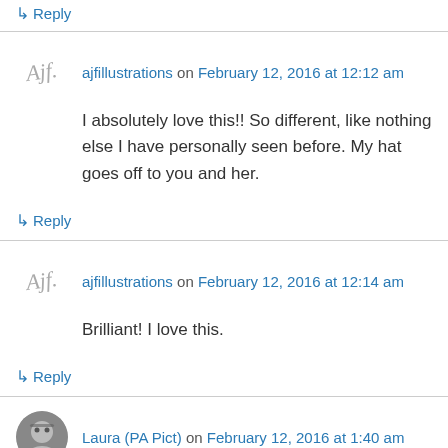↳ Reply
ajfillustrations on February 12, 2016 at 12:12 am
I absolutely love this!! So different, like nothing else I have personally seen before. My hat goes off to you and her.
↳ Reply
ajfillustrations on February 12, 2016 at 12:14 am
Brilliant! I love this.
↳ Reply
Laura (PA Pict) on February 12, 2016 at 1:40 am